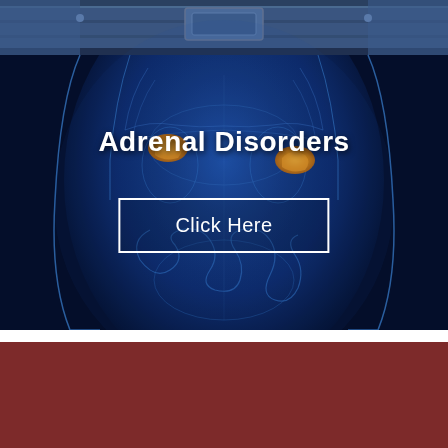[Figure (photo): Medical illustration showing an X-ray style blue transparent human torso with highlighted adrenal glands in orange/yellow, overlaid with a white button labeled 'Click Here' and title 'Adrenal Disorders'. Top portion shows jeans waistband.]
Adrenal Disorders
Click Here